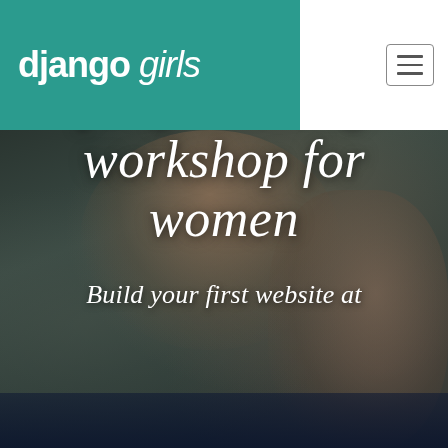[Figure (logo): Django Girls logo — white bold text 'django' and italic 'girls' on teal background, with hamburger menu icon on white panel on the right]
[Figure (photo): Dark-tinted photograph of women at laptops at a programming workshop. Two women visible, one with red hair wearing glasses looking at the other's screen, another with dark hair in a bun on the right. A laptop screen is visible at the bottom.]
Free programming workshop for women
Build your first website at